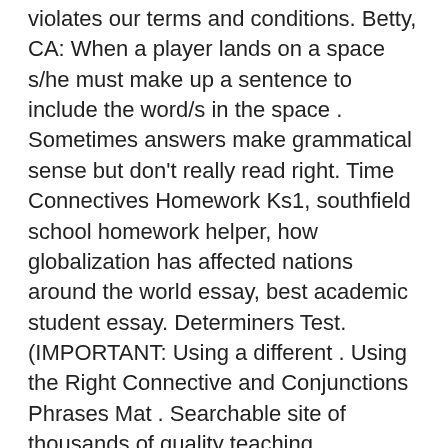violates our terms and conditions. Betty, CA: When a player lands on a space s/he must make up a sentence to include the word/s in the space . Sometimes answers make grammatical sense but don't really read right. Time Connectives Homework Ks1, southfield school homework helper, how globalization has affected nations around the world essay, best academic student essay. Determiners Test. (IMPORTANT: Using a different . Using the Right Connective and Conjunctions Phrases Mat . Searchable site of thousands of quality teaching resources, interactive resources, homework, exam and revision help. Rated 3 / 5 from 1 rating (Write a review) Use this sheet to make a collection of time-sequencing words and phrases. Win a copy of Opie Jones Talks to Animals! London WC1R 4HQ. Can you spot the title? Punctuation at KS2 teaching pack. Use this Time Conjunctions and Connectives Word Mat to